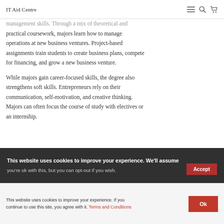IT Aid Centre
management skills. Through a mix of theoretical and practical coursework, majors learn how to manage operations at new business ventures. Project-based assignments train students to create business plans, compete for financing, and grow a new business venture.
While majors gain career-focused skills, the degree also strengthens soft skills. Entrepreneurs rely on their communication, self-motivation, and creative thinking. Majors can often focus the course of study with electives or an internship.
This website uses cookies to improve your experience. We'll assume you're ok with this, but you can opt-out if you wish.
This website uses cookies to improve your experience. If you continue to use this site, you agree with it. Terms and Conditions